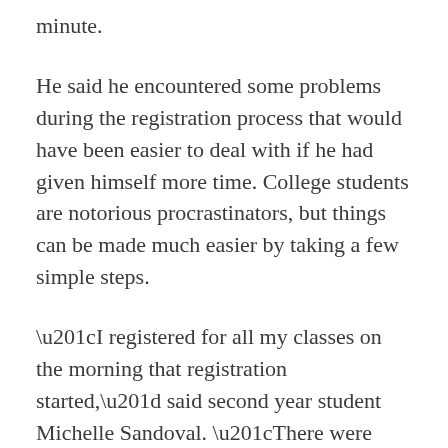minute.
He said he encountered some problems during the registration process that would have been easier to deal with if he had given himself more time. College students are notorious procrastinators, but things can be made much easier by taking a few simple steps.
“I registered for all my classes on the morning that registration started,” said second year student Michelle Sandoval. “There were some problems with my financial aid, but luckily I had enough